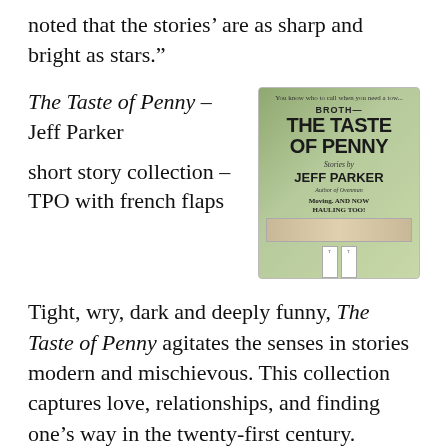noted that the stories’ are as sharp and bright as stars.”
The Taste of Penny – Jeff Parker
[Figure (photo): Book cover of 'The Taste of Penny' by Jeff Parker, a flyer-style poster attached to a wooden pole showing the title in bold large text and author name.]
short story collection – TPO with french flaps
Tight, wry, dark and deeply funny, The Taste of Penny agitates the senses in stories modern and mischievous. This collection captures love, relationships, and finding one’s way in the twenty-first century.
Emergency Press – from Bryan